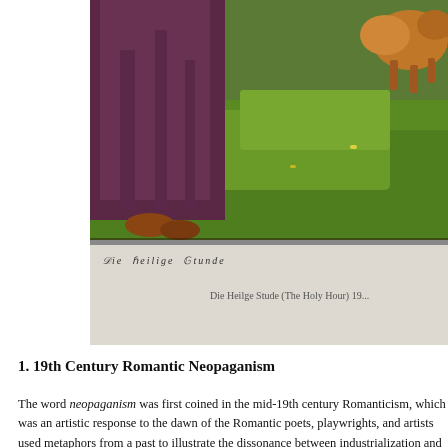[Figure (illustration): Partial painting showing bottom portion of a figure in purple/maroon robes standing on grass, with an animal (possibly a deer or dog) visible at upper right. Lush green grassy background. This appears to be a portion of a larger painting.]
Die heilige Stunde
Die Heilge Stude (The Holy Hour) 19...
1. 19th Century Romantic Neopaganism
The word neopaganism was first coined in the mid-19th century Romanticism, which was an artistic response to the dawn of the Romantic poets, playwrights, and artists used metaphors from a past to illustrate the dissonance between industrialization and th such as Pan, satyrs, and fauns were used to stand for a sense of they felt was being lost.